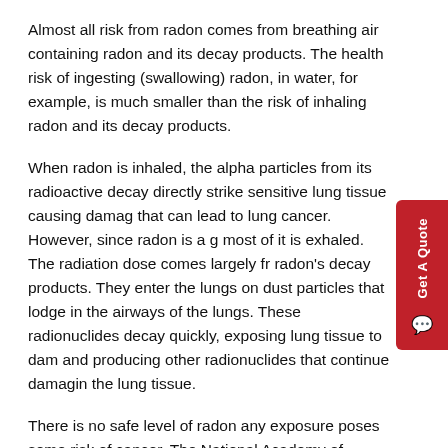Almost all risk from radon comes from breathing air containing radon and its decay products. The health risk of ingesting (swallowing) radon, in water, for example, is much smaller than the risk of inhaling radon and its decay products.
When radon is inhaled, the alpha particles from its radioactive decay directly strike sensitive lung tissue causing damage that can lead to lung cancer. However, since radon is a gas, most of it is exhaled. The radiation dose comes largely from radon's decay products. They enter the lungs on dust particles that lodge in the airways of the lungs. These radionuclides decay quickly, exposing lung tissue to damage and producing other radionuclides that continue damaging the lung tissue.
There is no safe level of radon any exposure poses some risk of cancer. The National Academy of Sciences (NAS) studied and reported on the causes of lung cancer in two 1999 reports. They concluded that radon in indoor air is the second leading cause of lung cancer in the U.S. after